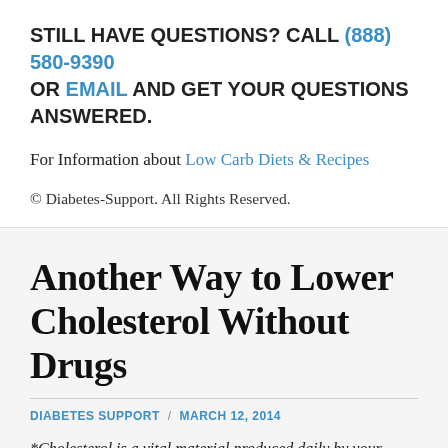STILL HAVE QUESTIONS? CALL (888) 580-9390 OR EMAIL AND GET YOUR QUESTIONS ANSWERED.
For Information about Low Carb Diets & Recipes
© Diabetes-Support. All Rights Reserved.
Another Way to Lower Cholesterol Without Drugs
DIABETES SUPPORT / MARCH 12, 2014
*Cholesterol is a vital material produced daily by your